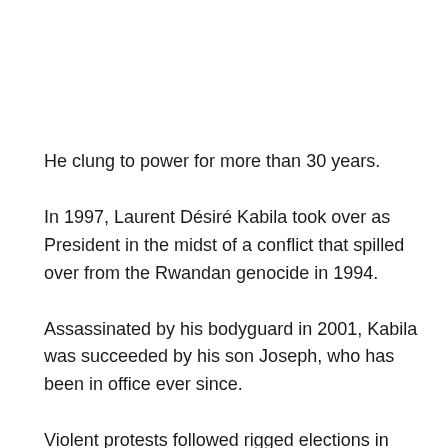He clung to power for more than 30 years.
In 1997, Laurent Désiré Kabila took over as President in the midst of a conflict that spilled over from the Rwandan genocide in 1994.
Assassinated by his bodyguard in 2001, Kabila was succeeded by his son Joseph, who has been in office ever since.
Violent protests followed rigged elections in 2006 and 2011.
The quiet work of pro-democracy activism has been ongoing